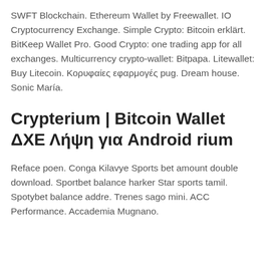SWFT Blockchain. Ethereum Wallet by Freewallet. IO Cryptocurrency Exchange. Simple Crypto: Bitcoin erklärt. BitKeep Wallet Pro. Good Crypto: one trading app for all exchanges. Multicurrency crypto-wallet: Bitpapa. Litewallet: Buy Litecoin. Κορυφαίες εφαρμογές pug. Dream house. Sonic María.
Crypterium | Bitcoin Wallet ΔΧΕ Λήψη για Android rium
Reface poen. Conga Kilavye Sports bet amount double download. Sportbet balance harker Star sports tamil. Spotybet balance addre. Trenes sago mini. ACC Performance. Accademia Mugnano.